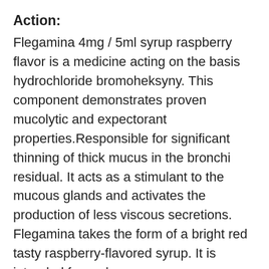Action:
Flegamina 4mg / 5ml syrup raspberry flavor is a medicine acting on the basis hydrochloride bromoheksyny. This component demonstrates proven mucolytic and expectorant properties.Responsible for significant thinning of thick mucus in the bronchi residual. It acts as a stimulant to the mucous glands and activates the production of less viscous secretions. Flegamina takes the form of a bright red tasty raspberry-flavored syrup. It is intended for oral use.
Contraindications:
- Hypersensitivity to the active components of the preparation
- use in children under 7 years of age